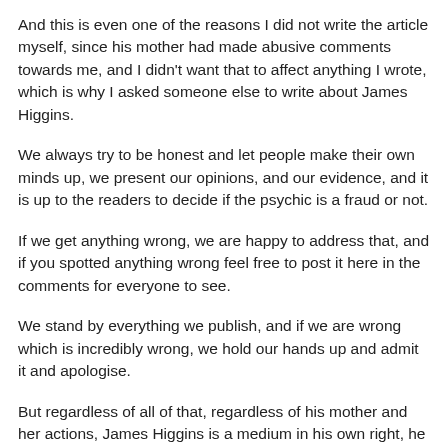And this is even one of the reasons I did not write the article myself, since his mother had made abusive comments towards me, and I didn't want that to affect anything I wrote, which is why I asked someone else to write about James Higgins.
We always try to be honest and let people make their own minds up, we present our opinions, and our evidence, and it is up to the readers to decide if the psychic is a fraud or not.
If we get anything wrong, we are happy to address that, and if you spotted anything wrong feel free to post it here in the comments for everyone to see.
We stand by everything we publish, and if we are wrong which is incredibly wrong, we hold our hands up and admit it and apologise.
But regardless of all of that, regardless of his mother and her actions, James Higgins is a medium in his own right, he has a website, facebook and so on, and as such if someone promotes themselves as a medium, then they...